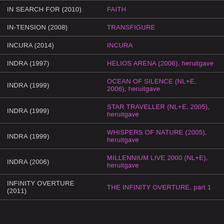| Artist | Album |
| --- | --- |
| IN SEARCH FOR (2010) | FAITH |
| IN-TENSION (2008) | TRANSFIGURE |
| INCURA (2014) | INCURA |
| INDRA (1997) | HELIOS ARENA (2006), heruitgave |
| INDRA (1999) | OCEAN OF SILENCE (NL+E, 2006), heruitgave |
| INDRA (1999) | STAR TRAVELLER (NL+E, 2005), heruitgave |
| INDRA (1999) | WHISPERS OF NATURE (2005), heruitgave |
| INDRA (2006) | MILLENNIUM LIVE 2000 (NL+E), heruitgave |
| INFINITY OVERTURE (2011) | THE INFINITY OVERTURE, part 1 |